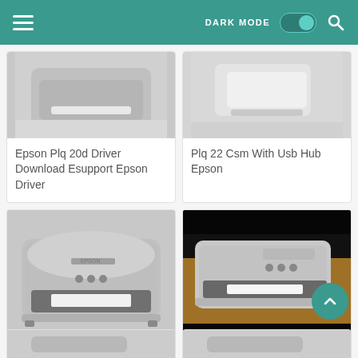DARK MODE [toggle] [search icon]
[Figure (photo): Partial view of an Epson PLQ printer from above, grey/white color]
Epson Plq 20d Driver Download Esupport Epson Driver
[Figure (photo): Partial view of a white Epson printer or device]
Plq 22 Csm With Usb Hub Epson
[Figure (photo): Epson PLQ series dot matrix passbook printer, grey, front view with paper slot]
Pin Di Printer Epson Bali
[Figure (photo): Video thumbnail of an Epson PLQ 20 printer on a wooden desk, dark background]
Instal Driver Printer Epson Plq 20 Pada Windows Xp Youtube
[Figure (photo): Partial view of another Epson printer, bottom row left]
[Figure (photo): Partial view of another Epson printer, bottom row right]